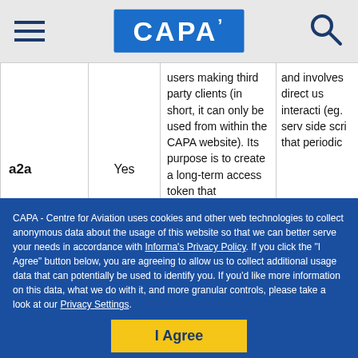CAPA
|  |  |  |  |
| --- | --- | --- | --- |
| a2a | Yes | users making third party clients (in short, it can only be used from within the CAPA website). Its purpose is to create a long-term access token that | and involves direct us interacti (eg. serv side scri that periodic |
CAPA - Centre for Aviation uses cookies and other web technologies to collect anonymous data about the usage of this website so that we can better serve your needs in accordance with Informa's Privacy Policy. If you click the "I Agree" button below, you are agreeing to allow us to collect additional usage data that can potentially be used to identify you. If you'd like more information on this data, what we do with it, and more granular controls, please take a look at our Privacy Settings.